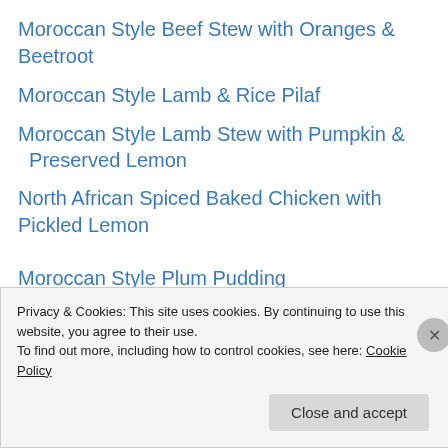Moroccan Style Beef Stew with Oranges & Beetroot
Moroccan Style Lamb & Rice Pilaf
Moroccan Style Lamb Stew with Pumpkin & Preserved Lemon
North African Spiced Baked Chicken with Pickled Lemon
Moroccan Style Plum Pudding
Meanderings Revisited (links to original post):
Fruit Curds
Prawn & Tomato Korma
Privacy & Cookies: This site uses cookies. By continuing to use this website, you agree to their use. To find out more, including how to control cookies, see here: Cookie Policy
Close and accept